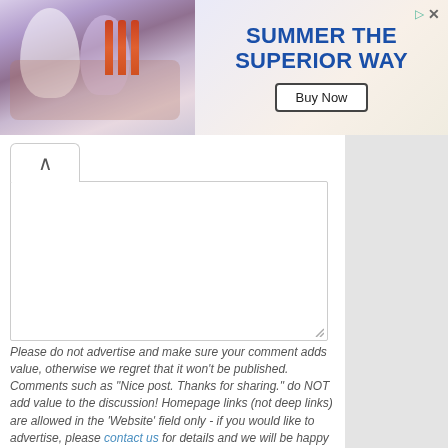[Figure (screenshot): Advertisement banner: photo of people at outdoor table with beer bottles on left; right side shows blue bold text 'SUMMER THE SUPERIOR WAY' with a 'Buy Now' button; close/skip icons top right.]
Please do not advertise and make sure your comment adds value, otherwise we regret that it won't be published. Comments such as "Nice post. Thanks for sharing." do NOT add value to the discussion! Homepage links (not deep links) are allowed in the 'Website' field only - if you would like to advertise, please contact us for details and we will be happy to help.
If you want a picture to show with your comment, go get a Gravatar.
Check this box to subscribe to A Luxury Travel Blog's mailing list